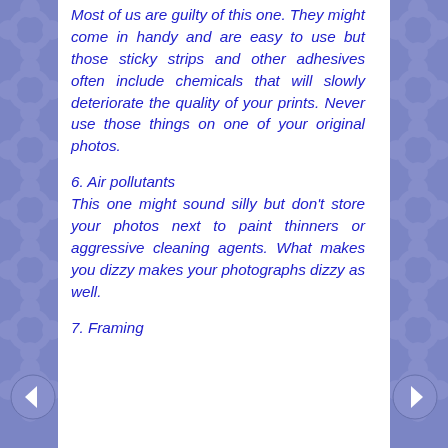Most of us are guilty of this one. They might come in handy and are easy to use but those sticky strips and other adhesives often include chemicals that will slowly deteriorate the quality of your prints. Never use those things on one of your original photos.
6. Air pollutants
This one might sound silly but don't store your photos next to paint thinners or aggressive cleaning agents. What makes you dizzy makes your photographs dizzy as well.
7. Framing